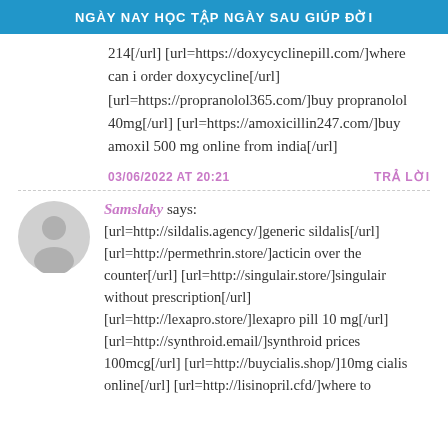NGÀY NAY HỌC TẬP NGÀY SAU GIÚP ĐỜI
214[/url] [url=https://doxycyclinepill.com/]where can i order doxycycline[/url] [url=https://propranolol365.com/]buy propranolol 40mg[/url] [url=https://amoxicillin247.com/]buy amoxil 500 mg online from india[/url]
03/06/2022 AT 20:21    TRẢ LỜI
Samslaky says: [url=http://sildalis.agency/]generic sildalis[/url] [url=http://permethrin.store/]acticin over the counter[/url] [url=http://singulair.store/]singulair without prescription[/url] [url=http://lexapro.store/]lexapro pill 10 mg[/url] [url=http://synthroid.email/]synthroid prices 100mcg[/url] [url=http://buycialis.shop/]10mg cialis online[/url] [url=http://lisinopril.cfd/]where to buy lisinopril without a prescription[/url]